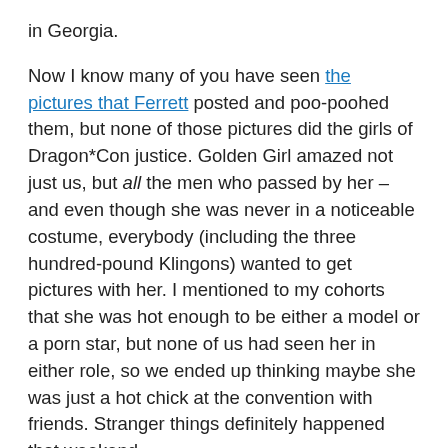in Georgia.
Now I know many of you have seen the pictures that Ferrett posted and poo-poohed them, but none of those pictures did the girls of Dragon*Con justice. Golden Girl amazed not just us, but all the men who passed by her – and even though she was never in a noticeable costume, everybody (including the three hundred-pound Klingons) wanted to get pictures with her. I mentioned to my cohorts that she was hot enough to be either a model or a porn star, but none of us had seen her in either role, so we ended up thinking maybe she was just a hot chick at the convention with friends. Stranger things definitely happened that weekend…
Anyway, about quarter after eight, Grand Moff Bleiweiss makes his arrival with his friend Adam, Gaming Jim and underling, and the Rodent – and after chastising me for not telling him Jim and Grif were coming to dinner (apparently the Ferrett, Sheep, and so on, were not coming that evening)